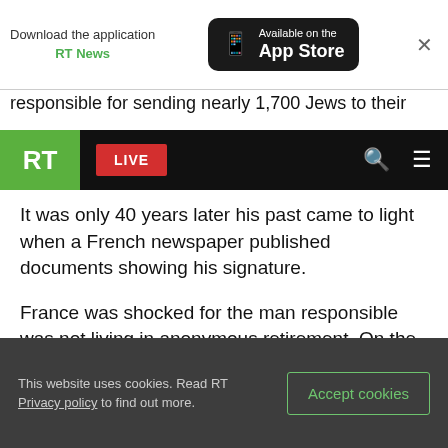[Figure (screenshot): App Store download banner with RT News app icon and close button]
responsible for sending nearly 1,700 Jews to their
[Figure (screenshot): RT navigation bar with green RT logo, red LIVE button, search and menu icons]
It was only 40 years later his past came to light when a French newspaper published documents showing his signature.
France was shocked for the man responsible was not living in anonymous retirement. On the contrary, Maurice Papon had become one of the leading figures in French public life – minister in several governments and, for 10 years, Paris police chief.
This website uses cookies. Read RT Privacy policy to find out more.